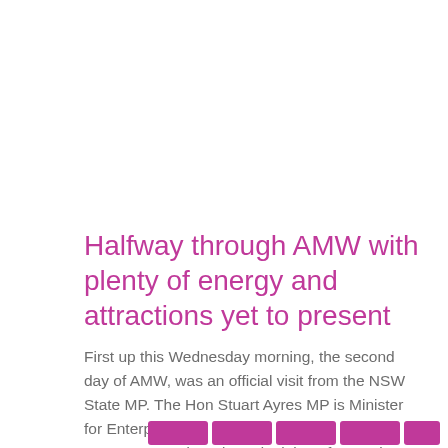Halfway through AMW with plenty of energy and attractions yet to present
First up this Wednesday morning, the second day of AMW, was an official visit from the NSW State MP. The Hon Stuart Ayres MP is Minister for Enterprise, Investment and Trade and Minister for Tourism and...